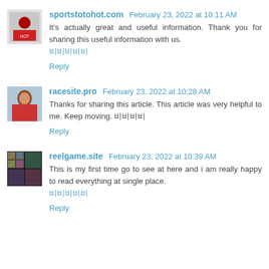[Figure (photo): Avatar thumbnail for sportstotohot.com commenter showing a logo/graphic]
sportstotohot.com February 23, 2022 at 10:11 AM
It's actually great and useful information. Thank you for sharing this useful information with us.
비비비비비
Reply
[Figure (photo): Avatar thumbnail for racesite.pro commenter showing a woman in red]
racesite.pro February 23, 2022 at 10:28 AM
Thanks for sharing this article. This article was very helpful to me. Keep moving. 비비비비
Reply
[Figure (photo): Avatar thumbnail for reelgame.site commenter showing a collage of game images]
reelgame.site February 23, 2022 at 10:39 AM
This is my first time go to see at here and i am really happy to read everything at single place.
비비비비비
Reply